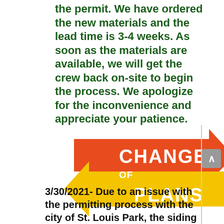the permit. We have ordered the new materials and the lead time is 3-4 weeks. As soon as the materials are available, we will get the crew back on-site to begin the process. We apologize for the inconvenience and appreciate your patience.
[Figure (illustration): Graphic showing two opposing arrows (orange pointing right, yellow pointing left) with the text 'CHANGE OF PLANS' overlaid in white bold letters on the orange arrow.]
3/30/2021- Due to an issue with the permitting process with the city of St. Louis Park, the siding